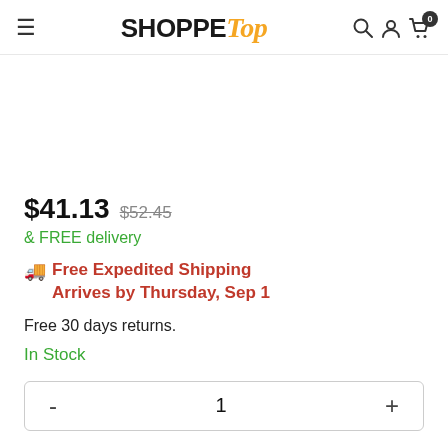SHOPPE Top
$41.13  $52.45
& FREE delivery
Free Expedited Shipping Arrives by Thursday, Sep 1
Free 30 days returns.
In Stock
- 1 +